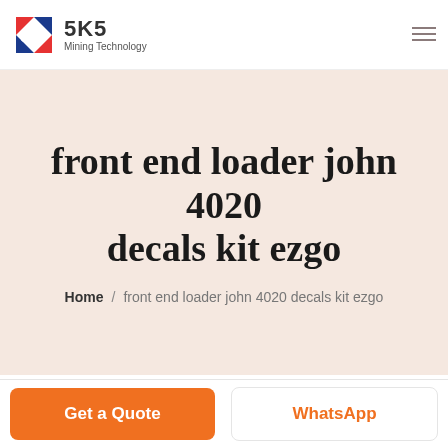[Figure (logo): SKS Mining Technology logo with red and blue icon and text]
front end loader john 4020 decals kit ezgo
Home / front end loader john 4020 decals kit ezgo
Get a Quote
WhatsApp